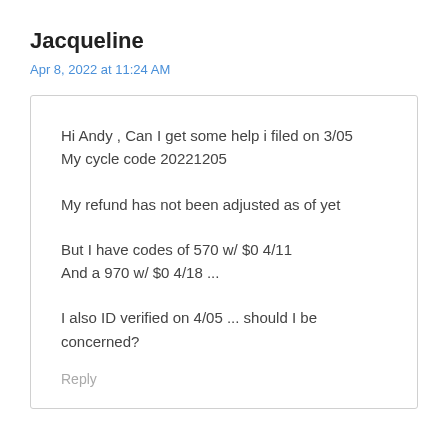Jacqueline
Apr 8, 2022 at 11:24 AM
Hi Andy , Can I get some help i filed on 3/05
My cycle code 20221205

My refund has not been adjusted as of yet

But I have codes of 570 w/ $0 4/11
And a 970 w/ $0 4/18 ...

I also ID verified on 4/05 ... should I be concerned?
Reply